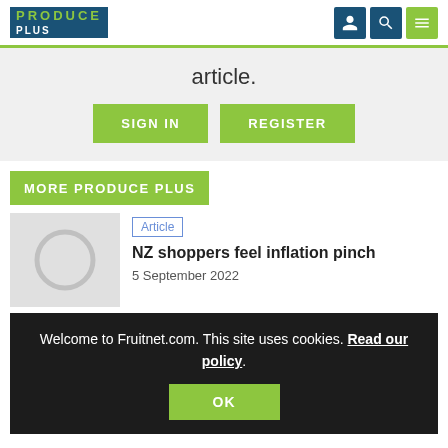PRODUCE PLUS
article.
SIGN IN   REGISTER
MORE PRODUCE PLUS
Article
NZ shoppers feel inflation pinch
5 September 2022
Welcome to Fruitnet.com. This site uses cookies. Read our policy.
OK